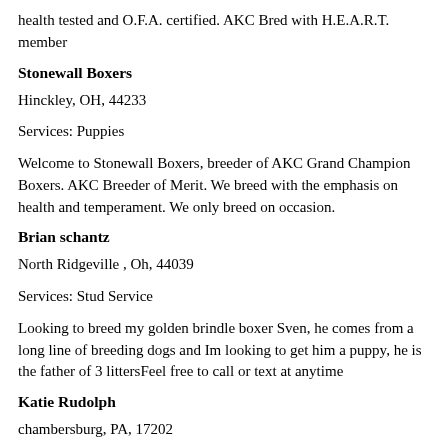health tested and O.F.A. certified. AKC Bred with H.E.A.R.T. member
Stonewall Boxers
Hinckley, OH, 44233
Services: Puppies
Welcome to Stonewall Boxers, breeder of AKC Grand Champion Boxers. AKC Breeder of Merit. We breed with the emphasis on health and temperament. We only breed on occasion.
Brian schantz
North Ridgeville , Oh, 44039
Services: Stud Service
Looking to breed my golden brindle boxer Sven, he comes from a long line of breeding dogs and Im looking to get him a puppy, he is the father of 3 littersFeel free to call or text at anytime
Katie Rudolph
chambersburg, PA, 17202